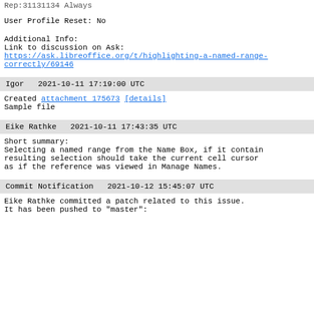User Profile Reset: No
Additional Info:
Link to discussion on Ask:
https://ask.libreoffice.org/t/highlighting-a-named-range-correctly/69146
Igor   2021-10-11 17:19:00 UTC
Created attachment 175673 [details]
Sample file
Eike Rathke   2021-10-11 17:43:35 UTC
Short summary:
Selecting a named range from the Name Box, if it contains
resulting selection should take the current cell cursor
as if the reference was viewed in Manage Names.
Commit Notification   2021-10-12 15:45:07 UTC
Eike Rathke committed a patch related to this issue.
It has been pushed to "master":